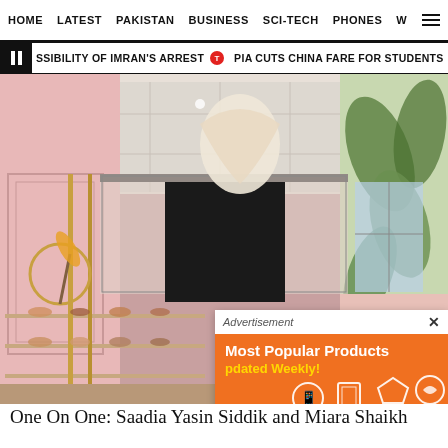HOME  LATEST  PAKISTAN  BUSINESS  SCI-TECH  PHONES  W
SSIBILITY OF IMRAN'S ARREST  •  PIA CUTS CHINA FARE FOR STUDENTS  •  PUNJA
[Figure (photo): Interior of a shoe boutique with pink walls, gold display racks holding various heeled shoes, botanical wallpaper on the right, decorative ceiling, and a mezzanine level visible in the background. An advertisement overlay is partially visible showing 'Most Popular Products Updated Weekly!' on an orange background.]
One On One: Saadia Yasin Siddik and Miara Shaikh